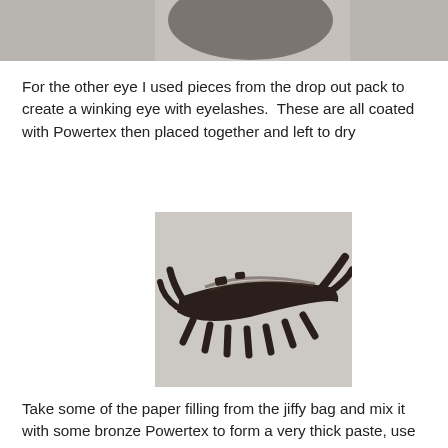[Figure (photo): Partial photograph of a dark circular object (eye component) on a light grey surface, cropped at the top of the page.]
For the other eye I used pieces from the drop out pack to create a winking eye with eyelashes.  These are all coated with Powertex then placed together and left to dry
[Figure (photo): Photograph of a dark brown/black winking eye with eyelashes craft piece made from Powertex-coated components, placed on a light grey surface.]
Take some of the paper filling from the jiffy bag and mix it with some bronze Powertex to form a very thick paste, use this to cover the branch.  Then using the remaining embellishments from the Owl pack coat them in bronze